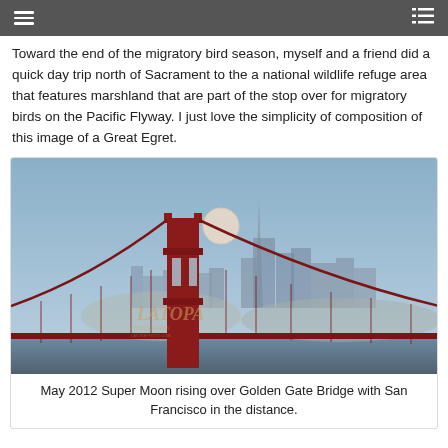Toward the end of the migratory bird season, myself and a friend did a quick day trip north of Sacrament to the a national wildlife refuge area that features marshland that are part of the stop over for migratory birds on the Pacific Flyway. I just love the simplicity of composition of this image of a Great Egret.
[Figure (photo): May 2012 Super Moon rising over Golden Gate Bridge with San Francisco skyline in the background and blue hazy sky. The bridge's red towers and cables are prominent in the foreground. A watermark 'LATOPA' is visible in lower left.]
May 2012 Super Moon rising over Golden Gate Bridge with San Francisco in the distance.